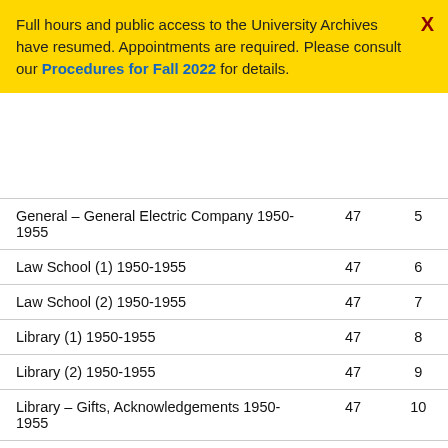Full hours and public access to the University Archives have resumed. Appointments are required. Please consult our Procedures for Fall 2022 for details.
|  |  |  |
| --- | --- | --- |
| General – General Electric Company 1950-1955 | 47 | 5 |
| Law School (1) 1950-1955 | 47 | 6 |
| Law School (2) 1950-1955 | 47 | 7 |
| Library (1) 1950-1955 | 47 | 8 |
| Library (2) 1950-1955 | 47 | 9 |
| Library – Gifts, Acknowledgements 1950-1955 | 47 | 10 |
| Library – Greenfield, Albert M., Gift 1950-1955 | 47 | 11 |
| Medical Center – General | 47 | 12 |